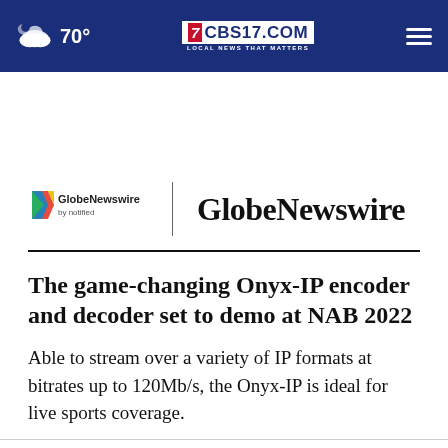70° CBS17.COM LOCAL NEWS THAT MATTERS
[Figure (logo): GlobeNewswire by notified logo with colorful play-button chevron icon, vertical divider, and bold GlobeNewswire text]
The game-changing Onyx-IP encoder and decoder set to demo at NAB 2022
Able to stream over a variety of IP formats at bitrates up to 120Mb/s, the Onyx-IP is ideal for live sports coverage.